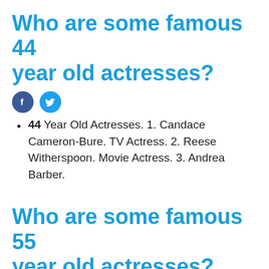Who are some famous 44 year old actresses?
[Figure (other): Facebook and Twitter social share icons]
44 Year Old Actresses. 1. Candace Cameron-Bure. TV Actress. 2. Reese Witherspoon. Movie Actress. 3. Andrea Barber.
Who are some famous 55 year old actresses?
[Figure (other): Facebook and Twitter social share icons]
Viola Davis. Movie Actress. 4. Maile Flanagan.